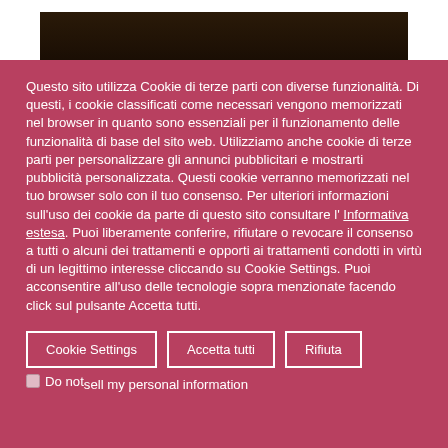[Figure (photo): Partial view of a dark nighttime building photograph at the top of the page]
Questo sito utilizza Cookie di terze parti con diverse funzionalità. Di questi, i cookie classificati come necessari vengono memorizzati nel browser in quanto sono essenziali per il funzionamento delle funzionalità di base del sito web. Utilizziamo anche cookie di terze parti per personalizzare gli annunci pubblicitari e mostrarti pubblicità personalizzata. Questi cookie verranno memorizzati nel tuo browser solo con il tuo consenso. Per ulteriori informazioni sull'uso dei cookie da parte di questo sito consultare l' Informativa estesa. Puoi liberamente conferire, rifiutare o revocare il consenso a tutti o alcuni dei trattamenti e opporti ai trattamenti condotti in virtù di un legittimo interesse cliccando su Cookie Settings. Puoi acconsentire all'uso delle tecnologie sopra menzionate facendo click sul pulsante Accetta tutti.
Cookie Settings | Accetta tutti | Rifiuta | Do not sell my personal information